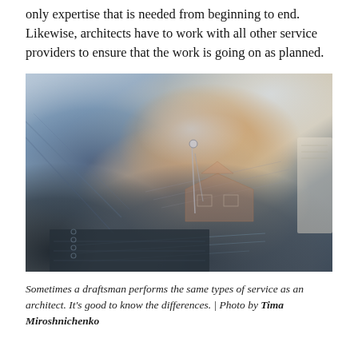only expertise that is needed from beginning to end. Likewise, architects have to work with all other service providers to ensure that the work is going on as planned.
[Figure (photo): A person in a denim shirt using a compass/drafting tool on architectural blueprints and house plans spread on a desk, with notebooks and other documents visible.]
Sometimes a draftsman performs the same types of service as an architect. It's good to know the differences. | Photo by Tima Miroshnichenko